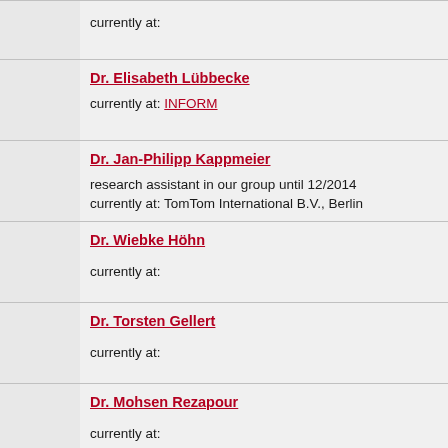currently at:
Dr. Elisabeth Lübbecke
currently at: INFORM
Dr. Jan-Philipp Kappmeier
research assistant in our group until 12/2014
currently at: TomTom International B.V., Berlin
Dr. Wiebke Höhn
currently at:
Dr. Torsten Gellert
currently at:
Dr. Mohsen Rezapour
currently at:
Dr. Wolfgang Welp